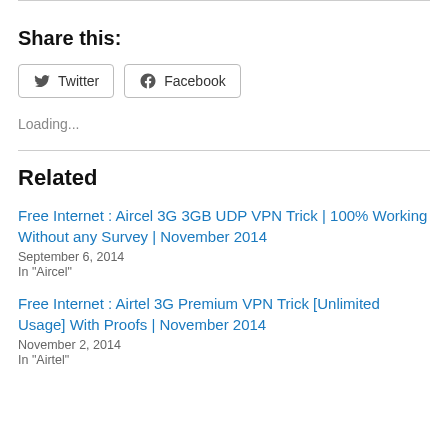Share this:
Twitter  Facebook
Loading...
Related
Free Internet : Aircel 3G 3GB UDP VPN Trick | 100% Working Without any Survey | November 2014
September 6, 2014
In "Aircel"
Free Internet : Airtel 3G Premium VPN Trick [Unlimited Usage] With Proofs | November 2014
November 2, 2014
In "Airtel"